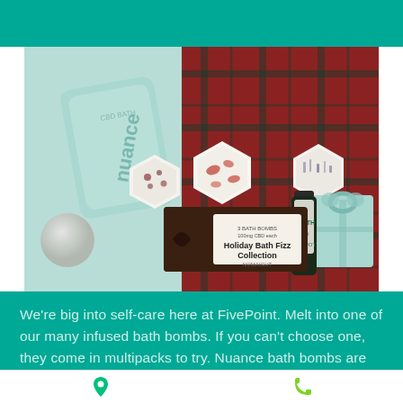[Figure (photo): Product photo showing Nuance CBD bath bombs, hexagonal bath soaks, a Holiday Bath Fizz Collection gift box, and a small bottle of CBD oil, arranged on a red plaid and mint background.]
We're big into self-care here at FivePoint. Melt into one of our many infused bath bombs. If you can't choose one, they come in multipacks to try. Nuance bath bombs are hypoallergenic, free of
[Figure (infographic): Bottom navigation bar with a green map pin icon on the left and a green phone icon on the right.]